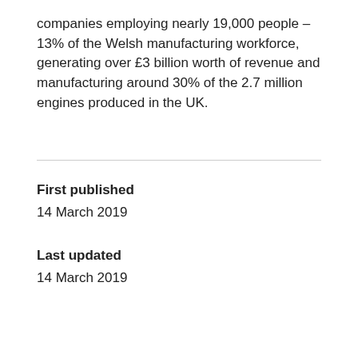companies employing nearly 19,000 people – 13% of the Welsh manufacturing workforce, generating over £3 billion worth of revenue and manufacturing around 30% of the 2.7 million engines produced in the UK.
First published
14 March 2019
Last updated
14 March 2019